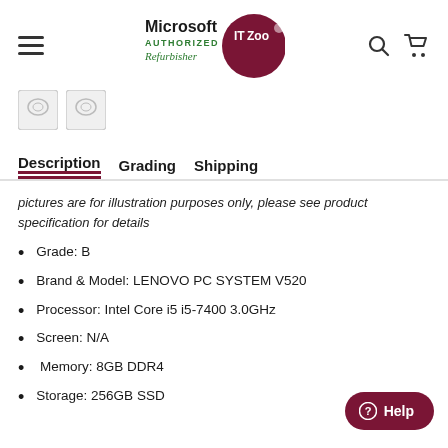[Figure (logo): Microsoft Authorized Refurbisher IT Zoo logo with hamburger menu, search and cart icons]
[Figure (illustration): Two small product thumbnail images]
Description  Grading  Shipping
pictures are for illustration purposes only, please see product specification for details
Grade: B
Brand & Model: LENOVO PC SYSTEM V520
Processor: Intel Core i5 i5-7400 3.0GHz
Screen: N/A
Memory: 8GB DDR4
Storage: 256GB SSD